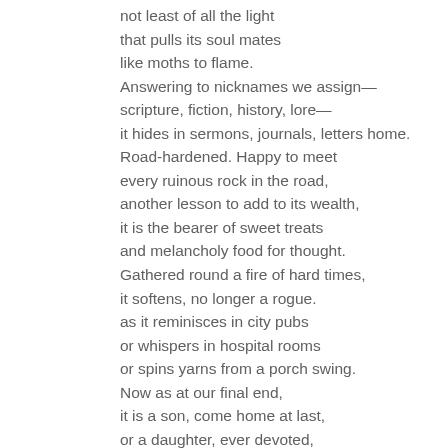not least of all the light
that pulls its soul mates
like moths to flame.
Answering to nicknames we assign—
scripture, fiction, history, lore—
it hides in sermons, journals, letters home.
Road-hardened. Happy to meet
every ruinous rock in the road,
another lesson to add to its wealth,
it is the bearer of sweet treats
and melancholy food for thought.
Gathered round a fire of hard times,
it softens, no longer a rogue.
as it reminisces in city pubs
or whispers in hospital rooms
or spins yarns from a porch swing.
Now as at our final end,
it is a son, come home at last,
or a daughter, ever devoted,
who sits a spell to talk